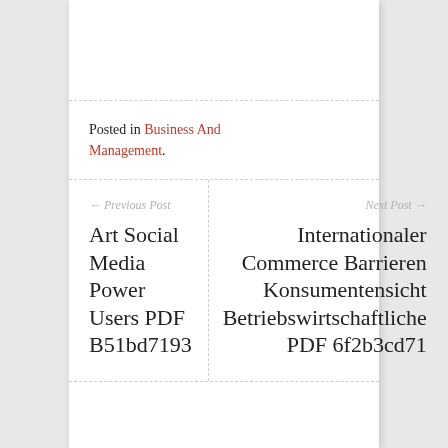Posted in Business And Management.
← Previous Post
Art Social Media Power Users PDF B51bd7193
Next Post →
Internationale Commerce Barrieren Konsumentensicht Betriebswirtschaftliche PDF 6f2b3cd71